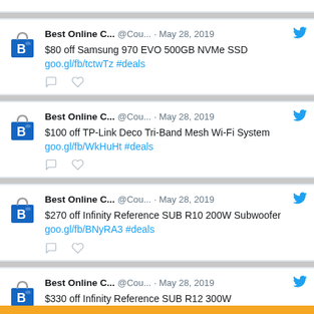[Figure (screenshot): Partial top tweet card visible at top of page]
Best Online C... @Cou... · May 28, 2019 — $80 off Samsung 970 EVO 500GB NVMe SSD goo.gl/fb/tctwTz #deals
Best Online C... @Cou... · May 28, 2019 — $100 off TP-Link Deco Tri-Band Mesh Wi-Fi System goo.gl/fb/WkHuHt #deals
Best Online C... @Cou... · May 28, 2019 — $270 off Infinity Reference SUB R10 200W Subwoofer goo.gl/fb/BNyRA3 #deals
Best Online C... @Cou... · May 28, 2019 — $330 off Infinity Reference SUB R12 300W Subwoofer (partial)